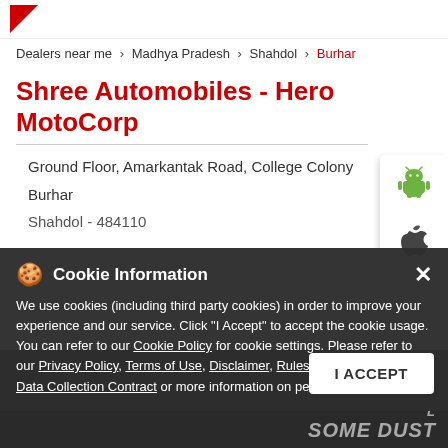Dealers near me > Madhya Pradesh > Shahdol > Burhar
Shree Automobiles - Hero MotoCorp
Ground Floor, Amarkantak Road, College Colony
Burhar
Shahdol - 484110
Cookie Information
We use cookies (including third party cookies) in order to improve your experience and our service. Click "I Accept" to accept the cookie usage. You can refer to our Cookie Policy for cookie settings. Please refer to our Privacy Policy, Terms of Use, Disclaimer, Rules & Regulations and Data Collection Contract or more information on personal data usage.
I ACCEPT
[Figure (photo): Bottom image showing motorcycle in dark setting with text 'SOME DUST']